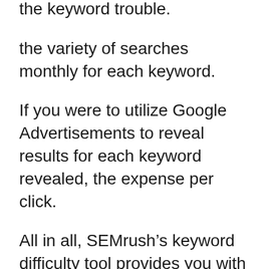the keyword trouble.
the variety of searches monthly for each keyword.
If you were to utilize Google Advertisements to reveal results for each keyword revealed, the expense per click.
All in all, SEMrush’s keyword difficulty tool provides you with all the vital details you require to make decisions on which keywords to target as part of an SEO task.
There are a number of improvements that could be made to it.
The data offered is for Google searches only–